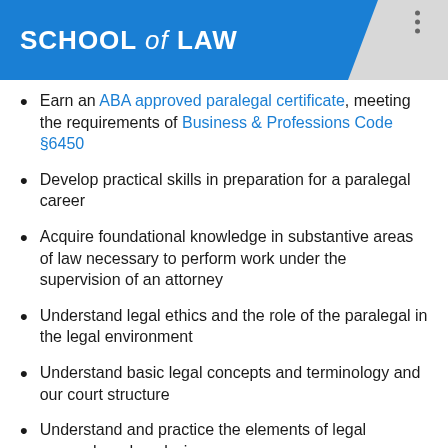SCHOOL of LAW
Earn an ABA approved paralegal certificate, meeting the requirements of Business & Professions Code §6450
Develop practical skills in preparation for a paralegal career
Acquire foundational knowledge in substantive areas of law necessary to perform work under the supervision of an attorney
Understand legal ethics and the role of the paralegal in the legal environment
Understand basic legal concepts and terminology and our court structure
Understand and practice the elements of legal research and analysis
Become familiar with and practice appropriate